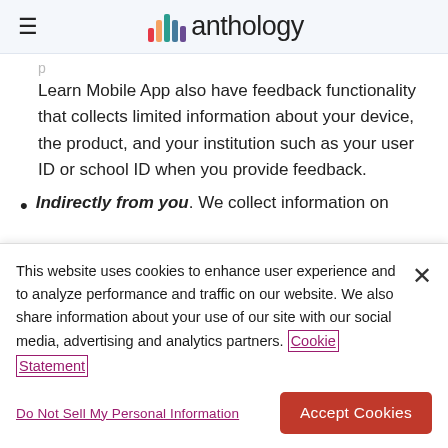anthology
Learn Mobile App also have feedback functionality that collects limited information about your device, the product, and your institution such as your user ID or school ID when you provide feedback.
Indirectly from you. We collect information on...
This website uses cookies to enhance user experience and to analyze performance and traffic on our website. We also share information about your use of our site with our social media, advertising and analytics partners. Cookie Statement
Do Not Sell My Personal Information
Accept Cookies